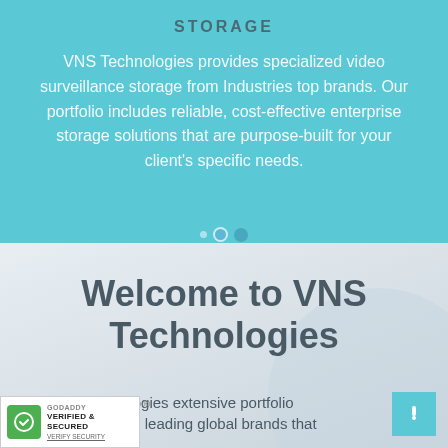STORAGE
VNS Technologies provides specialized video surveillance storage from Industries top brands. Our portfolio includes reliable, cost-effective enterprise storage solutions that are purpose-built for your client's specific needs.
Welcome to VNS Technologies
hnologies extensive portfolio
including leading global brands that
[Figure (logo): GoDaddy Verified & Secured badge with green lock icon]